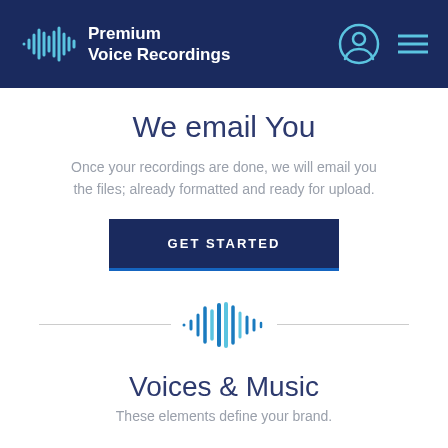Premium Voice Recordings
We email You
Once your recordings are done, we will email you the files; already formatted and ready for upload.
GET STARTED
[Figure (illustration): Audio waveform icon in blue, centered between two horizontal divider lines]
Voices & Music
These elements define your brand.